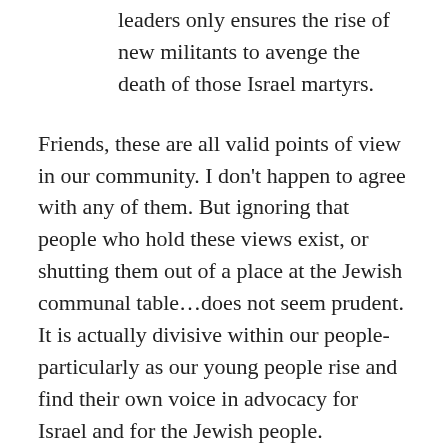leaders only ensures the rise of new militants to avenge the death of those Israel martyrs.
Friends, these are all valid points of view in our community. I don’t happen to agree with any of them. But ignoring that people who hold these views exist, or shutting them out of a place at the Jewish communal table…does not seem prudent. It is actually divisive within our people- particularly as our young people rise and find their own voice in advocacy for Israel and for the Jewish people.
Now, I imagine nearly all of you heard- that the student body president at Ohio